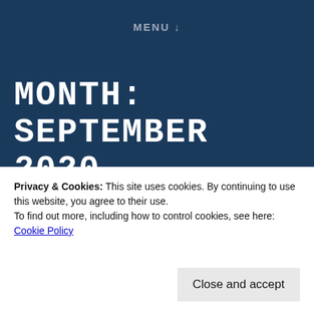MENU ↓
MONTH: SEPTEMBER 2020
ART QUOTE OF THE DAY
Posted on September 30, 2020
ART ENABLES US TO FIND OUR SELVES AND LOSE OUR SELVES
Privacy & Cookies: This site uses cookies. By continuing to use this website, you agree to their use.
To find out more, including how to control cookies, see here: Cookie Policy
Close and accept